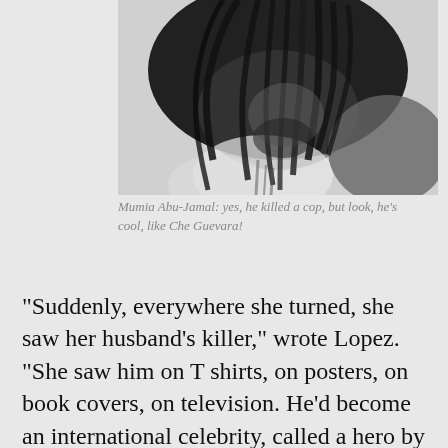[Figure (photo): Black and white photograph of Mumia Abu-Jamal showing his face partially obscured by dreadlocks, wearing white clothing]
Mumia Abu-Jamal: yes, he killed a cop, but look, he's cool, like Che Guevara!
“Suddenly, everywhere she turned, she saw her husband’s killer,” wrote Lopez. “She saw him on T shirts, on posters, on book covers, on television. He’d become an international celebrity, called a hero by some, compared to Nelson Mandela and Martin Luther King Jr. by others.” Sarandon and